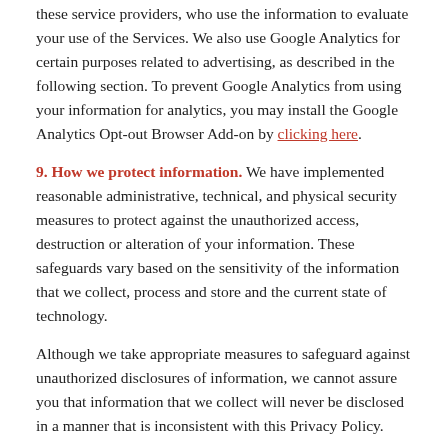these service providers, who use the information to evaluate your use of the Services. We also use Google Analytics for certain purposes related to advertising, as described in the following section. To prevent Google Analytics from using your information for analytics, you may install the Google Analytics Opt-out Browser Add-on by clicking here.
9. How we protect information. We have implemented reasonable administrative, technical, and physical security measures to protect against the unauthorized access, destruction or alteration of your information. These safeguards vary based on the sensitivity of the information that we collect, process and store and the current state of technology.
Although we take appropriate measures to safeguard against unauthorized disclosures of information, we cannot assure you that information that we collect will never be disclosed in a manner that is inconsistent with this Privacy Policy.
10. Linked sites and advertisements. The Services may contain links to third-party websites. We are not responsible